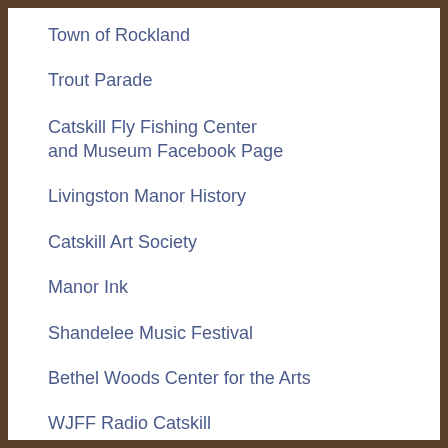Town of Rockland
Trout Parade
Catskill Fly Fishing Center and Museum Facebook Page
Livingston Manor History
Catskill Art Society
Manor Ink
Shandelee Music Festival
Bethel Woods Center for the Arts
WJFF Radio Catskill